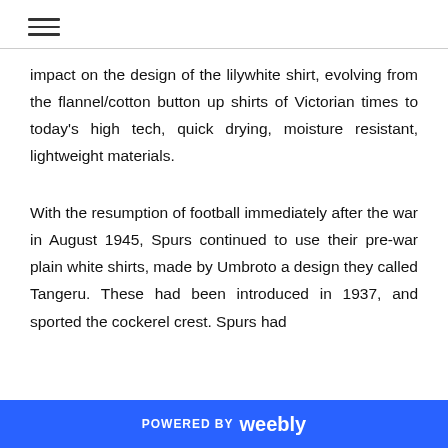≡
impact on the design of the lilywhite shirt, evolving from the flannel/cotton button up shirts of Victorian times to today's high tech, quick drying, moisture resistant, lightweight materials.
With the resumption of football immediately after the war in August 1945, Spurs continued to use their pre-war plain white shirts, made by Umbroto a design they called Tangeru. These had been introduced in 1937, and sported the cockerel crest. Spurs had
POWERED BY weebly